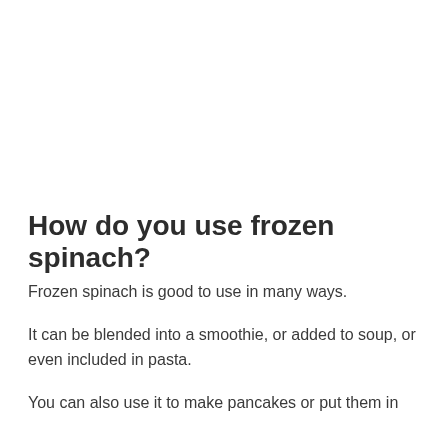How do you use frozen spinach?
Frozen spinach is good to use in many ways.
It can be blended into a smoothie, or added to soup, or even included in pasta.
You can also use it to make pancakes or put them in